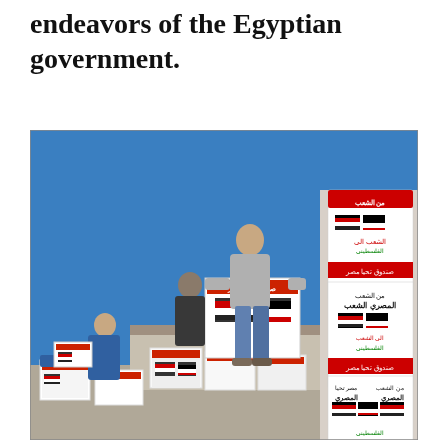endeavors of the Egyptian government.
[Figure (photo): A young man on a truck platform carries a large white box labeled with Egyptian and Palestinian flags and Arabic text reading 'From the Egyptian people to the Palestinian people - Tahya Misr Fund'. Several similar boxes are stacked around him. Another person stands to the left holding a box. Tall banner panels on the right display the same Egyptian-Palestinian solidarity message in Arabic. The background shows a blue sky.]